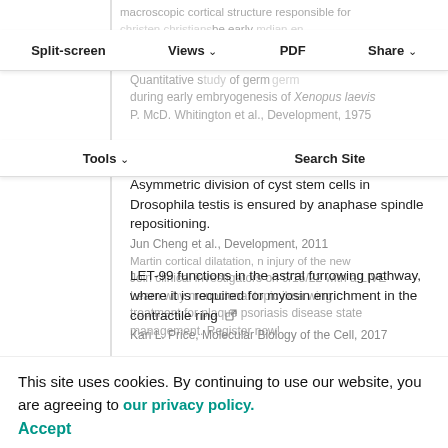Split-screen  Views  PDF  Share
Tools  Search Site
macroscopic cortical structure responsible for
christen christiansbe early mdian en
Lytton Romane et al., (50) 502, 2009
Quantitative study of germ germ
during early embryogenesis of Xenopus laevis
P. McD. Whitington et al., Development, 1975
Asymmetric division of cyst stem cells in Drosophila testis is ensured by anaphase spindle repositioning.
Jun Cheng et al., Development, 2011
LET-99 functions in the astral furrowing pathway, where it is required for myosin enrichment in the contractile ring
Kari L. Price, Molecular Biology of the Cell, 2017
Asymmetric cortical extension shifts cleavage furrow position in Drosophila neuroblasts
This site uses cookies. By continuing to use our website, you are agreeing to our privacy policy.
Accept